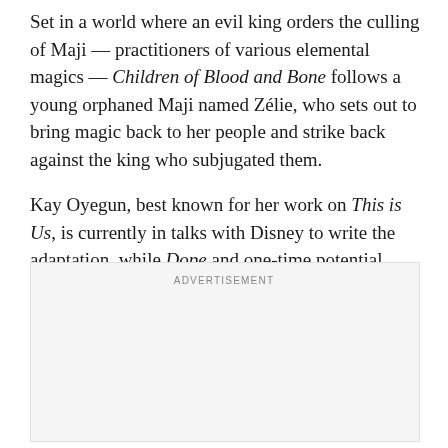Set in a world where an evil king orders the culling of Maji — practitioners of various elemental magics — Children of Blood and Bone follows a young orphaned Maji named Zélie, who sets out to bring magic back to her people and strike back against the king who subjugated them.
Kay Oyegun, best known for her work on This is Us, is currently in talks with Disney to write the adaptation, while Dope and one-time potential Flash director Rick Famuyiwa is still attached to direct.
[Figure (other): Advertisement placeholder box with 'ADVERTISEMENT' label centered at top]